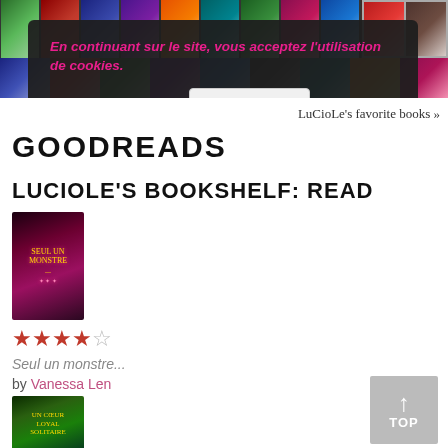[Figure (screenshot): Top strip of book cover thumbnails in various colors including greens, reds, blues, purples, and a right-side panel with additional covers]
En continuant sur le site, vous acceptez l'utilisation de cookies.
Plus d'informations
J'accepte
LuCioLe's favorite books »
GOODREADS
LUCIOLE'S BOOKSHELF: READ
[Figure (photo): Book cover of 'Seul un monstre...' — dark red and black background with ornate lettering and monster imagery]
★★★★☆
Seul un monstre...
by Vanessa Len
[Figure (photo): Book cover of 'Un Coeur Loyal Solitaire' — dark green background with a glowing orb and golden lettering]